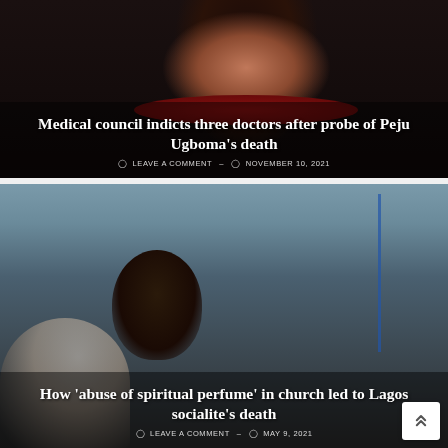[Figure (photo): Dark portrait photo of a woman wearing red clothing, serving as background for article card about medical council indicting three doctors after probe of Peju Ugboma's death]
Medical council indicts three doctors after probe of Peju Ugboma's death
LEAVE A COMMENT – NOVEMBER 10, 2021
[Figure (photo): Indoor photo of a man in a church or public setting, serving as background for article about how abuse of spiritual perfume in church led to Lagos socialite's death]
How 'abuse of spiritual perfume' in church led to Lagos socialite's death
LEAVE A COMMENT – MAY 9, 2021